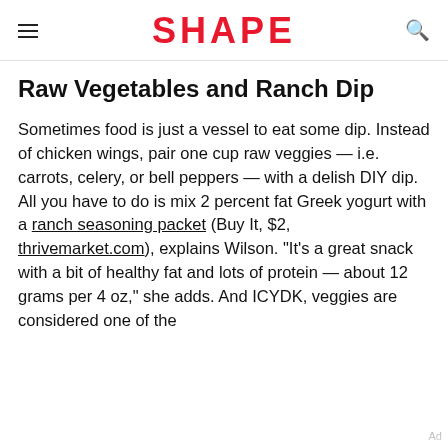SHAPE
Raw Vegetables and Ranch Dip
Sometimes food is just a vessel to eat some dip. Instead of chicken wings, pair one cup raw veggies — i.e. carrots, celery, or bell peppers — with a delish DIY dip. All you have to do is mix 2 percent fat Greek yogurt with a ranch seasoning packet (Buy It, $2, thrivemarket.com), explains Wilson. "It's a great snack with a bit of healthy fat and lots of protein — about 12 grams per 4 oz," she adds. And ICYDK, veggies are considered one of the